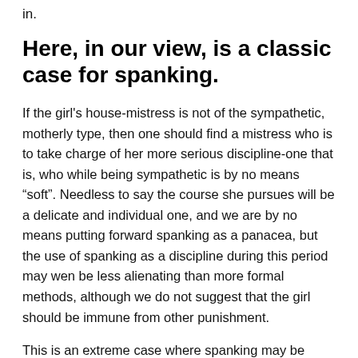in.
Here, in our view, is a classic case for spanking.
If the girl's house-mistress is not of the sympathetic, motherly type, then one should find a mistress who is to take charge of her more serious discipline-one that is, who while being sympathetic is by no means “soft”. Needless to say the course she pursues will be a delicate and individual one, and we are by no means putting forward spanking as a panacea, but the use of spanking as a discipline during this period may wen be less alienating than more formal methods, although we do not suggest that the girl should be immune from other punishment.
This is an extreme case where spanking may be called for, but there are others. Some girls who are by no means normally unsettled may respond to it well under certain circumstances. School matrons sometimes use it and some mistresses and